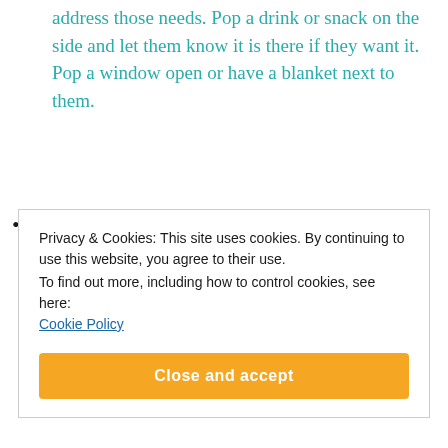address those needs. Pop a drink or snack on the side and let them know it is there if they want it. Pop a window open or have a blanket next to them.
Calm. Reconnect together. Play a game, read a story, have a hug, talk about something you can see/feel/hear/smell. It is really tempting to talk to them about what happened once they are calm. Try and avoid this as the brain's chemical levels to a stress response take longer to fully regulate
Privacy & Cookies: This site uses cookies. By continuing to use this website, you agree to their use. To find out more, including how to control cookies, see here: Cookie Policy
Close and accept